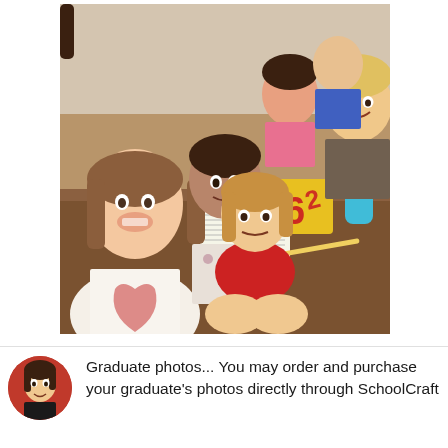[Figure (photo): Group of elementary school children and a teacher smiling at the camera in a classroom setting. There is a brown table with papers, pencils, a yellow number cube showing '6' and '2', and a teal water bottle. Children include a girl in a white American flag heart t-shirt, a girl in a floral outfit, a girl in a red t-shirt sitting cross-legged, and others in the background, along with a smiling blonde teacher.]
[Figure (photo): Small circular avatar photo of a woman with dark hair against a red background.]
Graduate photos... You may order and purchase your graduate's photos directly through SchoolCraft